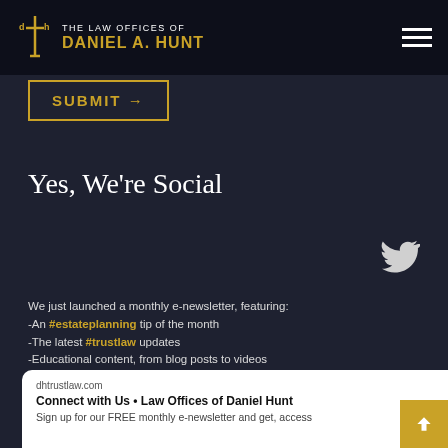The Law Offices of Daniel A. Hunt
SUBMIT →
Yes, We're Social
[Figure (logo): Twitter bird icon]
We just launched a monthly e-newsletter, featuring:
-An #estateplanning tip of the month
-The latest #trustlaw updates
-Educational content, from blog posts to videos
-And more!
Subscribe at: https://t.co/2hV3bU5PSp https://t.co/2CGI19dbFG
dhtrustlaw.com
Connect with Us • Law Offices of Daniel Hunt
Sign up for our FREE monthly e-newsletter and get, access